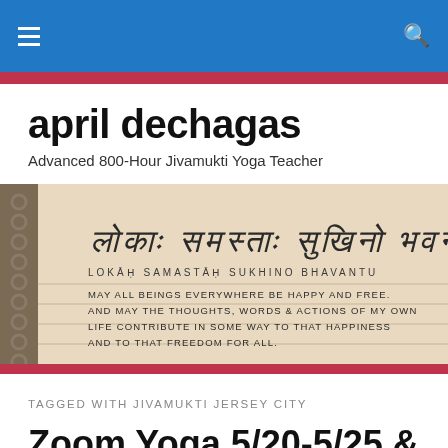Navigation bar with hamburger menu and search icon
april dechagas
Advanced 800-Hour Jivamukti Yoga Teacher
[Figure (photo): Handwritten notebook page with Sanskrit text and translation: LOKĀḤ SAMASTĀḤ SUKHINO BHAVANTU — MAY ALL BEINGS EVERYWHERE BE HAPPY AND FREE. AND MAY THE THOUGHTS, WORDS & ACTIONS OF MY OWN LIFE CONTRIBUTE IN SOME WAY TO THAT HAPPINESS AND TO THAT FREEDOM FOR ALL.]
TAGGED WITH JIVAMUKTI JERSEY CITY
Zoom Yoga 5/20-5/25 & Nature